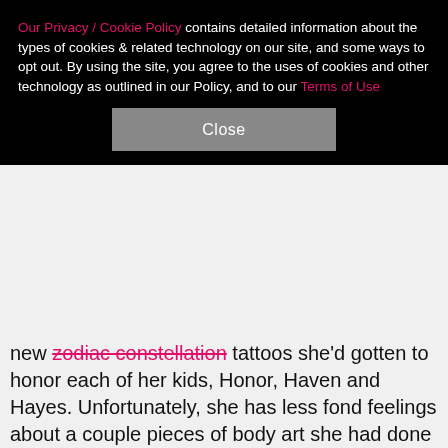Our Privacy / Cookie Policy contains detailed information about the types of cookies & related technology on our site, and some ways to opt out. By using the site, you agree to the uses of cookies and other technology as outlined in our Policy, and to our Terms of Use
Close
new zodiac constellation tattoos she'd gotten to honor each of her kids, Honor, Haven and Hayes. Unfortunately, she has less fond feelings about a couple pieces of body art she had done when she was much younger. "I do have a few tattoos," she told Refinery29 in a recent interview, "... and I regret one of them… maybe two." Taking first place on the "regret" list is the bow she has smack dab in the middle of her lower back — "kind of a tramp stamp," she says. (Sorry, girl, there's no "kind of" about the tramp stamp delineation when you made the area just above your butt look like a gift.)